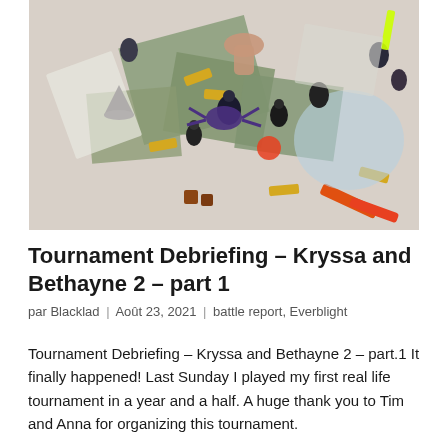[Figure (photo): Overhead photo of a tabletop miniature wargame in progress, showing painted miniature figures, terrain tiles, tokens, dice, and markers spread across a white gaming surface.]
Tournament Debriefing – Kryssa and Bethayne 2 – part 1
par Blacklad | Août 23, 2021 | battle report, Everblight
Tournament Debriefing – Kryssa and Bethayne 2 – part.1 It finally happened! Last Sunday I played my first real life tournament in a year and a half. A huge thank you to Tim and Anna for organizing this tournament.